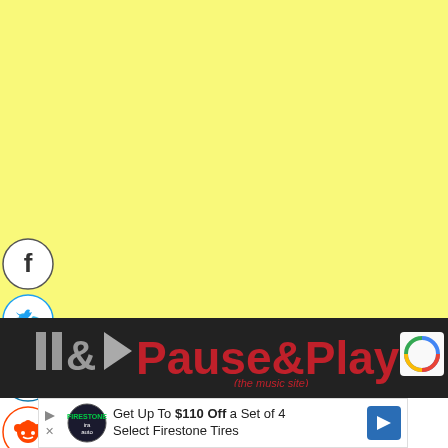[Figure (illustration): Yellow background area filling the top portion of the page]
[Figure (infographic): Social media share buttons: Facebook (blue circle with f), Twitter (blue circle with bird), LinkedIn (teal circle with in), Reddit (orange circle with alien mascot), Email (dark circle with envelope)]
[Figure (logo): Pause&Play music site logo with gray pause/play icons and red bold Pause&Play text, subtitle '(the music site)' in red italic]
[Figure (illustration): Advertisement banner: Get Up To $110 Off a Set of 4 Select Firestone Tires, with auto service logo and blue navigation arrow icon]